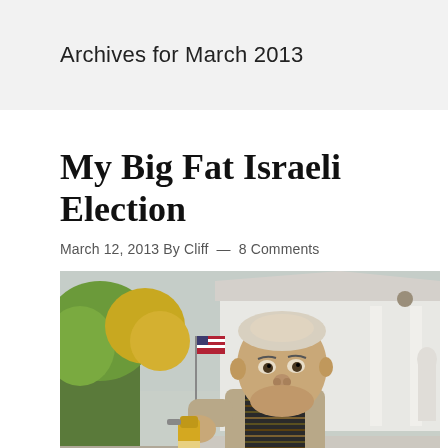Archives for March 2013
My Big Fat Israeli Election
March 12, 2013 By Cliff — 8 Comments
[Figure (photo): An elderly man in a tan jacket and patterned sweater holding a spray bottle, standing outdoors in front of a white building with an American flag visible in the background. Trees with yellow-green foliage are visible on the left.]